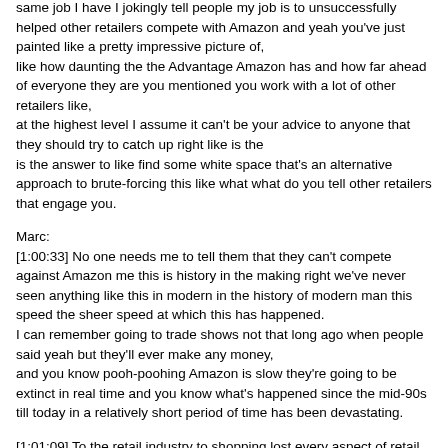same job I have I jokingly tell people my job is to unsuccessfully helped other retailers compete with Amazon and yeah you've just painted like a pretty impressive picture of, like how daunting the the Advantage Amazon has and how far ahead of everyone they are you mentioned you work with a lot of other retailers like, at the highest level I assume it can't be your advice to anyone that they should try to catch up right like is the is the answer to like find some white space that's an alternative approach to brute-forcing this like what what do you tell other retailers that engage you.
Marc:
[1:00:33] No one needs me to tell them that they can't compete against Amazon me this is history in the making right we've never seen anything like this in modern in the history of modern man this speed the sheer speed at which this has happened. I can remember going to trade shows not that long ago when people said yeah but they'll ever make any money, and you know pooh-poohing Amazon is slow they're going to be extinct in real time and you know what's happened since the mid-90s till today in a relatively short period of time has been devastating.
[1:01:09] To the retail industry to shopping lost every aspect of retail you can possibly imagine. And it's going to continue to happen and sir you can't say to a company, wow and become better at e-commerce than Amazon is because that's a losing battle I think you just have to understand when Back to Basics you